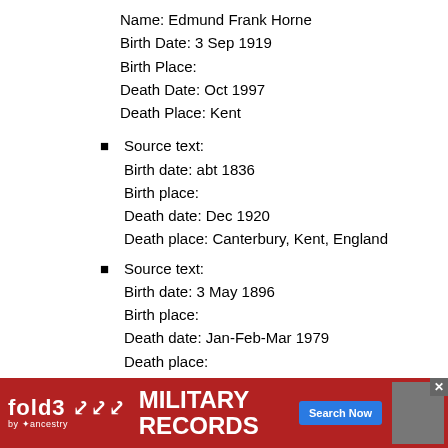Name: Edmund Frank Horne
Birth Date: 3 Sep 1919
Birth Place:
Death Date: Oct 1997
Death Place: Kent
Source text:
Birth date: abt 1836
Birth place:
Death date: Dec 1920
Death place: Canterbury, Kent, England
Source text:
Birth date: 3 May 1896
Birth place:
Death date: Jan-Feb-Mar 1979
Death place:
Source text:
Birth date: abt 1836
Birth place:
Death date: Dec 1920
Death place: Canterbury, Kent, England
Source text:
Birth date: abt 1836
Birth place:
[Figure (infographic): fold3 by Ancestry advertisement banner for Military Records with Search Now button and soldier photo]